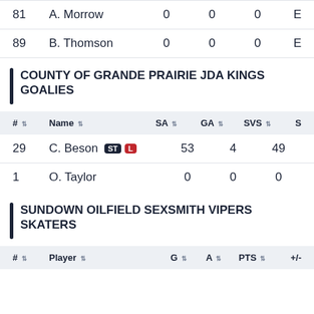| # | Name | SA | GA | SVS | S |
| --- | --- | --- | --- | --- | --- |
| 81 | A. Morrow | 0 | 0 | 0 | E |
| 89 | B. Thomson | 0 | 0 | 0 | E |
COUNTY OF GRANDE PRAIRIE JDA KINGS GOALIES
| # | Name | SA | GA | SVS | S |
| --- | --- | --- | --- | --- | --- |
| 29 | C. Beson ST L | 53 | 4 | 49 |  |
| 1 | O. Taylor | 0 | 0 | 0 |  |
SUNDOWN OILFIELD SEXSMITH VIPERS SKATERS
| # | Player | G | A | PTS | +/- |
| --- | --- | --- | --- | --- | --- |